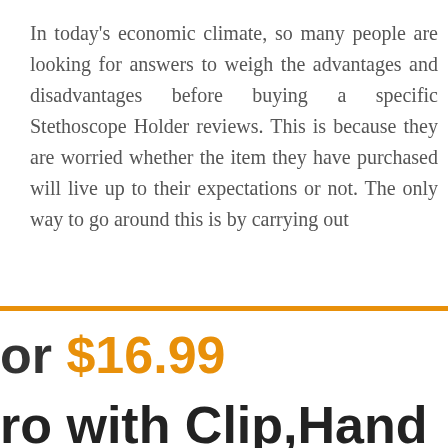In today's economic climate, so many people are looking for answers to weigh the advantages and disadvantages before buying a specific Stethoscope Holder reviews. This is because they are worried whether the item they have purchased will live up to their expectations or not. The only way to go around this is by carrying out [research on the Stethoscope Hold...
or $16.99
ro with Clip,Hand